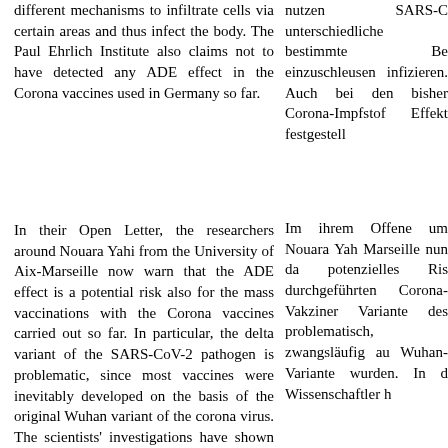different mechanisms to infiltrate cells via certain areas and thus infect the body. The Paul Ehrlich Institute also claims not to have detected any ADE effect in the Corona vaccines used in Germany so far.
nutzen SARS-C unterschiedliche bestimmte Be einzuschleusen infizieren. Auch bei den bisher Corona-Impfstof Effekt festgestell
In their Open Letter, the researchers around Nouara Yahi from the University of Aix-Marseille now warn that the ADE effect is a potential risk also for the mass vaccinations with the Corona vaccines carried out so far. In particular, the delta variant of the SARS-CoV-2 pathogen is problematic, since most vaccines were inevitably developed on the basis of the original Wuhan variant of the corona virus. The scientists' investigations have shown that there are indeed sites in this variant that can lead to the formation of
Im ihrem Offene um Nouara Yah Marseille nun da potenzielles Ris durchgeführten Corona-Vakziner Variante des problematisch, zwangsläufig au Wuhan-Variante wurden. In d Wissenschaftler h